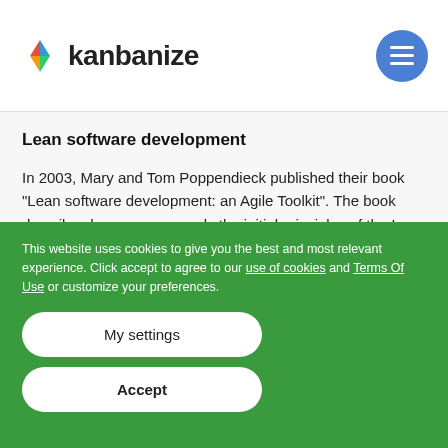kanbanize
Lean software development
In 2003, Mary and Tom Poppendieck published their book "Lean software development: an Agile Toolkit". The book describes how you can apply the initial principles of the Lean methodology to software development.
This website uses cookies to give you the best and most relevant experience. Click accept to agree to our use of cookies and Terms Of Use or customize your preferences.
My settings
Accept